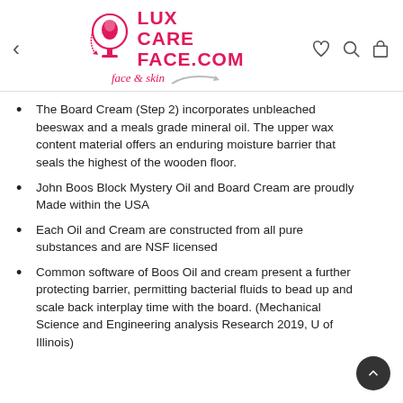[Figure (logo): LuxCareFace.com logo with face/skin tagline and pink branding]
The Board Cream (Step 2) incorporates unbleached beeswax and a meals grade mineral oil. The upper wax content material offers an enduring moisture barrier that seals the highest of the wooden floor.
John Boos Block Mystery Oil and Board Cream are proudly Made within the USA
Each Oil and Cream are constructed from all pure substances and are NSF licensed
Common software of Boos Oil and cream present a further protecting barrier, permitting bacterial fluids to bead up and scale back interplay time with the board. (Mechanical Science and Engineering analysis Research 2019, U of Illinois)